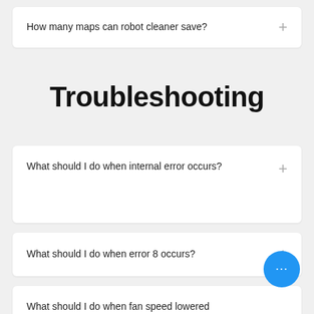How many maps can robot cleaner save?
Troubleshooting
What should I do when internal error occurs?
What should I do when error 8 occurs?
What should I do when fan speed lowered